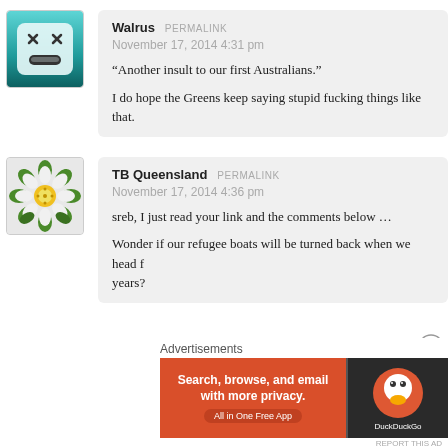[Figure (illustration): Walrus avatar: teal/green square avatar with cartoon face (X eyes, smile)]
Walrus PERMALINK
November 17, 2014 4:31 pm
“Another insult to our first Australians.”

I do hope the Greens keep saying stupid fucking things like that.
[Figure (illustration): TB Queensland avatar: white rose / Tudor rose emblem on transparent background]
TB Queensland PERMALINK
November 17, 2014 4:36 pm

sreb, I just read your link and the comments below …

Wonder if our refugee boats will be turned back when we head f
years?
Advertisements
[Figure (other): DuckDuckGo advertisement banner: orange left side with text 'Search, browse, and email with more privacy. All in One Free App', dark right side with DuckDuckGo logo]